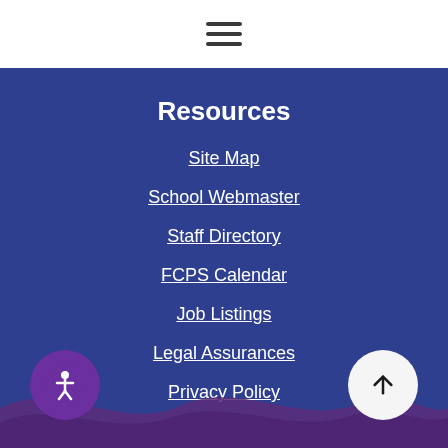≡
Resources
Site Map
School Webmaster
Staff Directory
FCPS Calendar
Job Listings
Legal Assurances
Privacy Policy
[Figure (illustration): Purple wave decoration at bottom of page with accessibility button (purple circle with person icon) on left and back-to-top button (white circle with up arrow) on right]